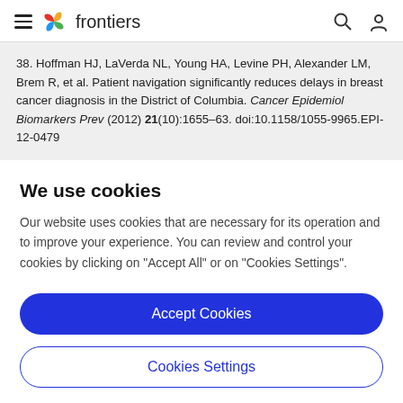frontiers
38. Hoffman HJ, LaVerda NL, Young HA, Levine PH, Alexander LM, Brem R, et al. Patient navigation significantly reduces delays in breast cancer diagnosis in the District of Columbia. Cancer Epidemiol Biomarkers Prev (2012) 21(10):1655–63. doi:10.1158/1055-9965.EPI-12-0479
We use cookies
Our website uses cookies that are necessary for its operation and to improve your experience. You can review and control your cookies by clicking on "Accept All" or on "Cookies Settings".
Accept Cookies
Cookies Settings